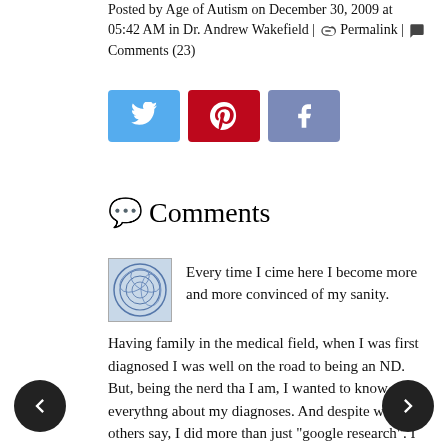Posted by Age of Autism on December 30, 2009 at 05:42 AM in Dr. Andrew Wakefield | 🔗 Permalink | 💬 Comments (23)
[Figure (infographic): Social media sharing buttons: Twitter (blue), Pinterest (red), Facebook (muted blue)]
💬 Comments
[Figure (photo): Blue geometric avatar image (abstract sphere pattern)]
Every time I cime here I become more and more convinced of my sanity. Having family in the medical field, when I was first diagnosed I was well on the road to being an ND. But, being the nerd tha I am, I wanted to know everythng about my diagnoses. And despite what others say, I did more than just "google research". I did the comprehensive